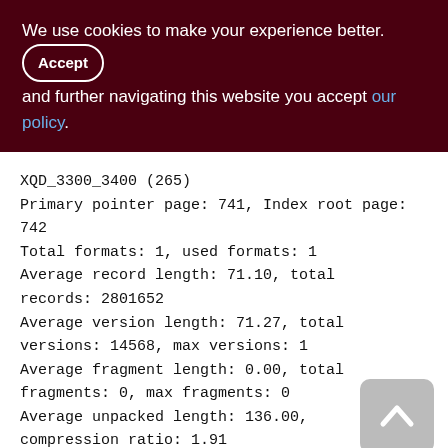We use cookies to make your experience better. By accepting and further navigating this website you accept our policy.
XQD_3300_3400 (265)
Primary pointer page: 741, Index root page: 742
Total formats: 1, used formats: 1
Average record length: 71.10, total records: 2801652
Average version length: 71.27, total versions: 14568, max versions: 1
Average fragment length: 0.00, total fragments: 0, max fragments: 0
Average unpacked length: 136.00, compression ratio: 1.91